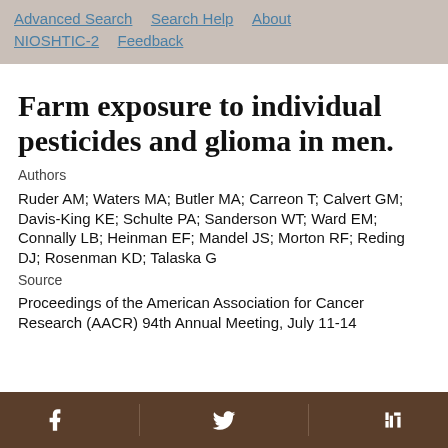Advanced Search   Search Help   About NIOSHTIC-2   Feedback
Farm exposure to individual pesticides and glioma in men.
Authors
Ruder AM; Waters MA; Butler MA; Carreon T; Calvert GM; Davis-King KE; Schulte PA; Sanderson WT; Ward EM; Connally LB; Heinman EF; Mandel JS; Morton RF; Reding DJ; Rosenman KD; Talaska G
Source
Proceedings of the American Association for Cancer Research (AACR) 94th Annual Meeting, July 11-14
Facebook   Twitter   LinkedIn